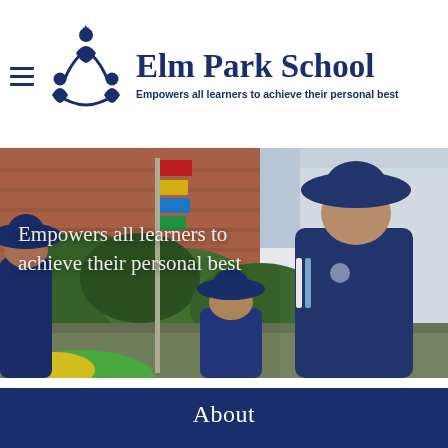Elm Park School — Empowers all learners to achieve their personal best
[Figure (photo): School children wearing navy blue uniforms and wide-brimmed hats playing outdoors in front of a brick school building with colourful flags on a pole and green foliage in the background]
Empowers all learners to achieve their personal best
About